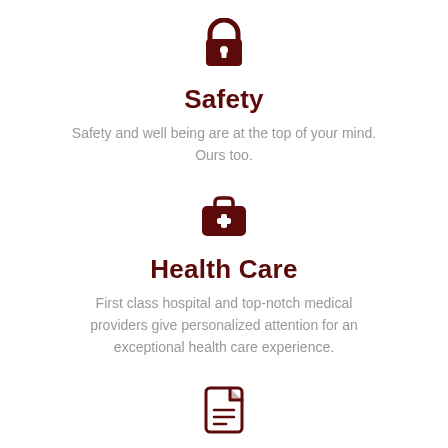[Figure (illustration): Dark red padlock icon]
Safety
Safety and well being are at the top of your mind. Ours too.
[Figure (illustration): Dark red medical/first aid kit icon with plus sign]
Health Care
First class hospital and top-notch medical providers give personalized attention for an exceptional health care experience.
[Figure (illustration): Dark red document/file icon with text lines]